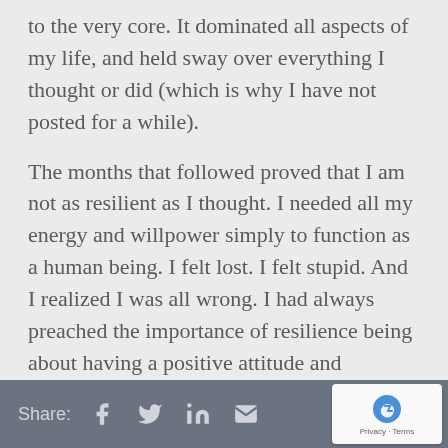to the very core. It dominated all aspects of my life, and held sway over everything I thought or did (which is why I have not posted for a while).
The months that followed proved that I am not as resilient as I thought. I needed all my energy and willpower simply to function as a human being. I felt lost. I felt stupid. And I realized I was all wrong. I had always preached the importance of resilience being about having a positive attitude and controlling your mindset. Yet here was something entirely out of my control.
Share: